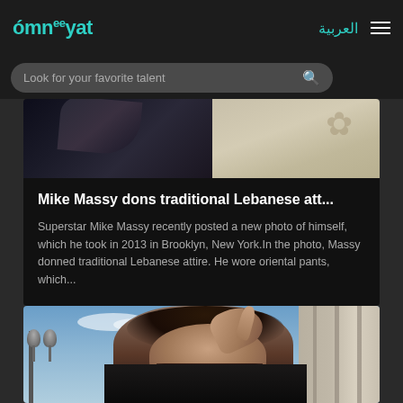omneeyat | العربية
Mike Massy dons traditional Lebanese att...
Superstar Mike Massy recently posted a new photo of himself, which he took in 2013 in Brooklyn, New York.In the photo, Massy donned traditional Lebanese attire. He wore oriental pants, which...
[Figure (photo): Top portion of a photo showing a person in dark clothing against a beige/cream floral background]
[Figure (photo): Photo of a bearded man with styled dark hair raising his hand near his face, standing in front of classical columns with a blue sky background and street lamp visible on the left]